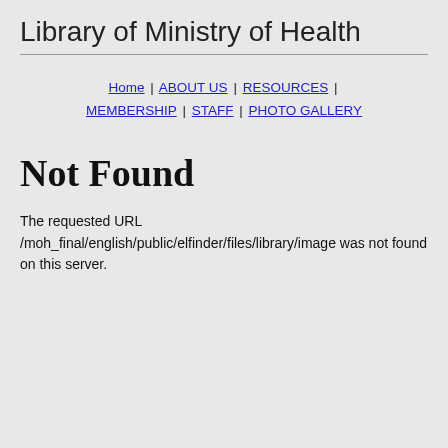Library of Ministry of Health
Home | ABOUT US | RESOURCES | MEMBERSHIP | STAFF | PHOTO GALLERY
Not Found
The requested URL /moh_final/english/public/elfinder/files/library/image was not found on this server.